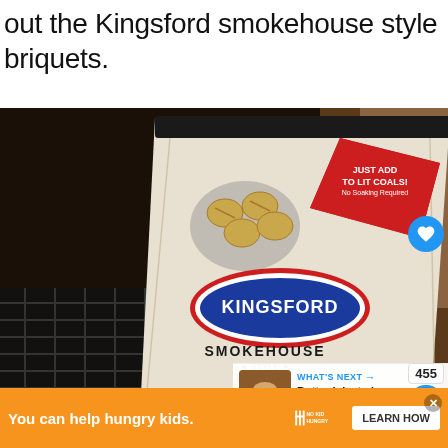out the Kingsford smokehouse style briquets.
[Figure (photo): A bag of Kingsford Smokehouse Style Briquets - Mesquite variety, placed on a grill grate with a dark smoker/grill in the background. The bag features a red diamond badge reading 'JUST ADD TO LIT COALS! No Soaking Required' and the Kingsford logo in a red, white, and blue oval.]
455
WHAT'S NEXT → Butter Injected Grilled Turkey
You can help hungry kids. NO KID HUNGRY LEARN HOW